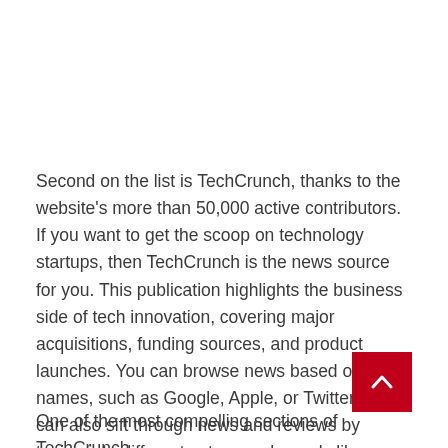Second on the list is TechCrunch, thanks to the website's more than 50,000 active contributors. If you want to get the scoop on technology startups, then TechCrunch is the news source for you. This publication highlights the business side of tech innovation, covering major acquisitions, funding sources, and product launches. You can browse news based on brand names, such as Google, Apple, or Twitter. You can also sift through news and reviews by tuning into different category channels like Enterprise, Startups, or Mobile.
One of the most compelling sections of TechCrunch